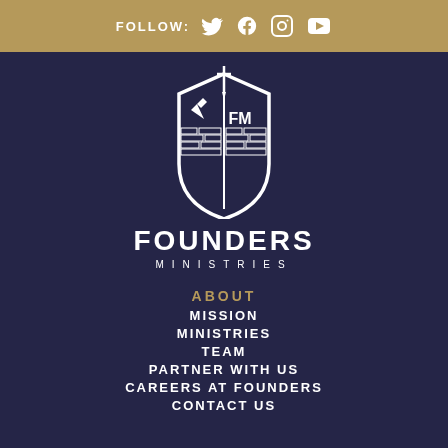FOLLOW:
[Figure (logo): Founders Ministries shield logo with sword and FM letters, brick pattern]
FOUNDERS MINISTRIES
ABOUT
MISSION
MINISTRIES
TEAM
PARTNER WITH US
CAREERS AT FOUNDERS
CONTACT US